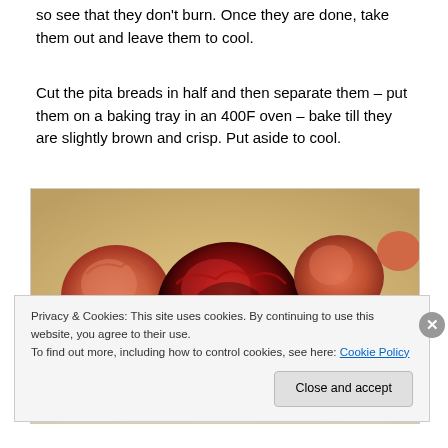so see that they don't burn. Once they are done, take them out and leave them to cool.
Cut the pita breads in half and then separate them – put them on a baking tray in an 400F oven – bake till they are slightly brown and crisp. Put aside to cool.
[Figure (photo): Roasted vegetables including tomatoes and eggplant on a baking tray with parchment paper, showing charred and caramelized surfaces.]
Privacy & Cookies: This site uses cookies. By continuing to use this website, you agree to their use.
To find out more, including how to control cookies, see here: Cookie Policy
Close and accept